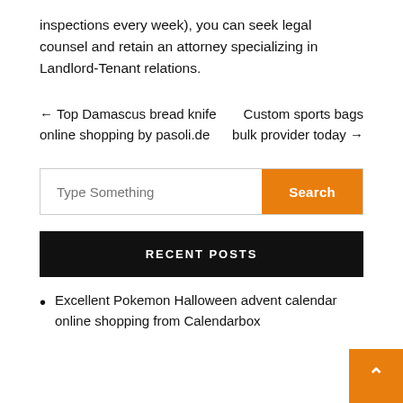inspections every week), you can seek legal counsel and retain an attorney specializing in Landlord-Tenant relations.
← Top Damascus bread knife online shopping by pasoli.de
Custom sports bags bulk provider today →
Type Something
RECENT POSTS
Excellent Pokemon Halloween advent calendar online shopping from Calendarbox